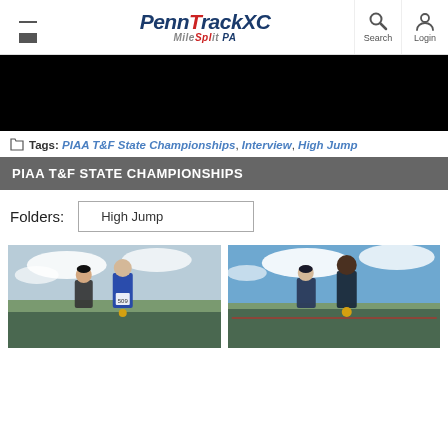PennTrackXC MileSplit PA — Search — Login
[Figure (screenshot): Black video player area]
Tags: PIAA T&F State Championships, Interview, High Jump
PIAA T&F STATE CHAMPIONSHIPS
Folders: High Jump
[Figure (photo): Two athletes standing on a track field, one wearing bib number 509, outdoor setting with cloudy sky]
[Figure (photo): Two athletes standing on a track field, one with a gold medal, outdoor setting with blue sky]